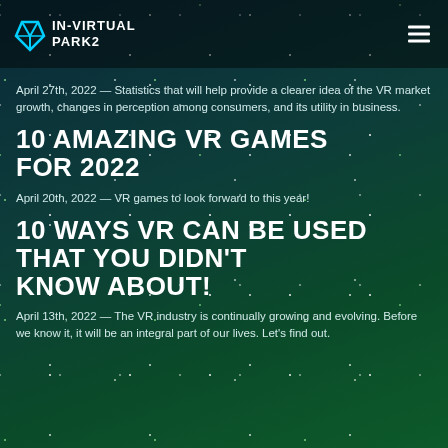IN VIRTUAL PARK2
April 27th, 2022 — Statistics that will help provide a clearer idea of the VR market growth, changes in perception among consumers, and its utility in business.
10 AMAZING VR GAMES FOR 2022
April 20th, 2022 — VR games to look forward to this year!
10 WAYS VR CAN BE USED THAT YOU DIDN'T KNOW ABOUT!
April 13th, 2022 — The VR industry is continually growing and evolving. Before we know it, it will be an integral part of our lives. Let's find out.